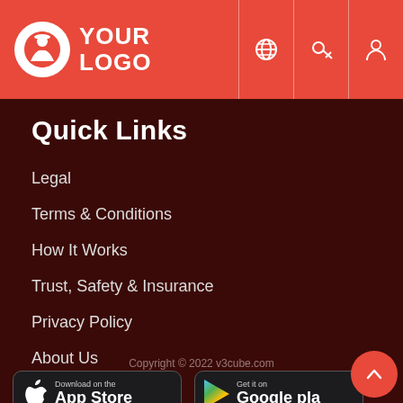[Figure (logo): YOUR LOGO header with globe, key, and person icons on red/orange background]
Quick Links
Legal
Terms & Conditions
How It Works
Trust, Safety & Insurance
Privacy Policy
About Us
Copyright © 2022 v3cube.com
[Figure (screenshot): Download on the App Store button]
[Figure (screenshot): Get it on Google Play button]